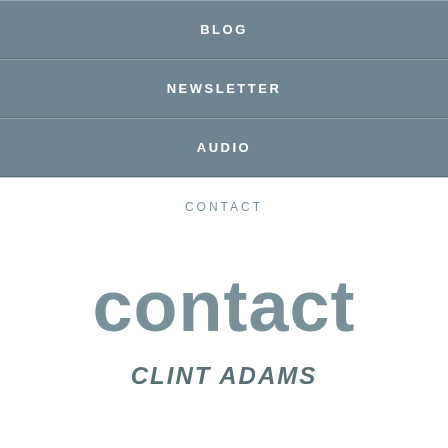BLOG
NEWSLETTER
AUDIO
CONTACT
contact
CLINT ADAMS